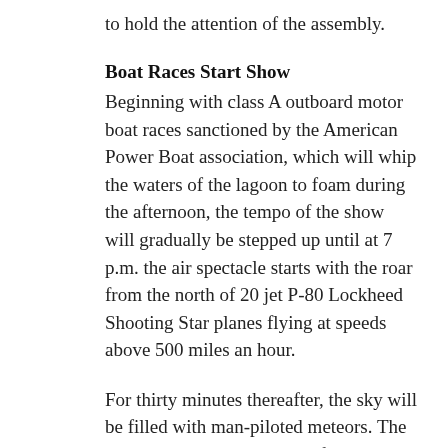to hold the attention of the assembly.
Boat Races Start Show
Beginning with class A outboard motor boat races sanctioned by the American Power Boat association, which will whip the waters of the lagoon to foam during the afternoon, the tempo of the show will gradually be stepped up until at 7 p.m. the air spectacle starts with the roar from the north of 20 jet P-80 Lockheed Shooting Star planes flying at speeds above 500 miles an hour.
For thirty minutes thereafter, the sky will be filled with man-piloted meteors. The jet-propelled planes, some of which never have performed before a civilian audience before, will stage the most sensational formation maneuver that can be performed by fast military aircraft before the flames sink to in the